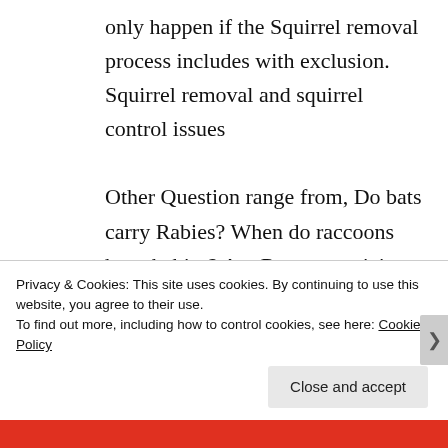only happen if the Squirrel removal process includes with exclusion. Squirrel removal and squirrel control issues

Other Question range from, Do bats carry Rabies? When do raccoons have babies? Are Raccoons vicious when they have young? Terry screamed when he
Privacy & Cookies: This site uses cookies. By continuing to use this website, you agree to their use.
To find out more, including how to control cookies, see here: Cookie Policy
Close and accept